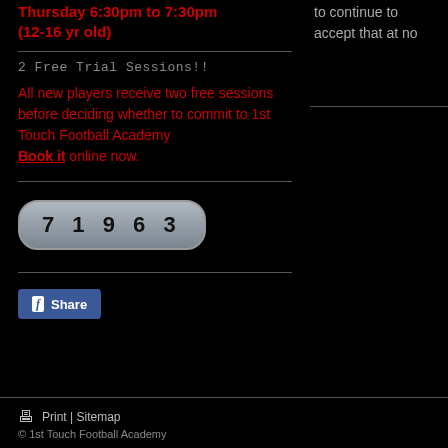Thursday 6:30pm to 7:30pm (12-16 yr old)
to continue to accept that at no
2 Free Trial Sessions!!
All new players receive two free sessions before deciding whether to commit to 1st Touch Football Academy Book it online now.
[Figure (other): CAPTCHA image showing number 71963 in a rounded gray pill-shaped box]
[Figure (other): Facebook Share button with Facebook icon and 'Share' text on blue background]
Print | Sitemap © 1st Touch Football Academy